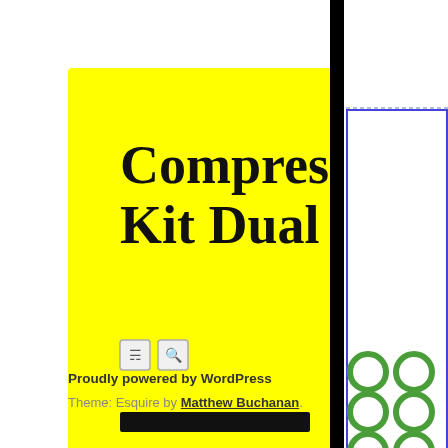Compressor Kit Dual
[Figure (screenshot): Yellow speech bubble containing site title 'Compressor Kit Dual' with RSS and search icons and a black navigation bar element]
[Figure (illustration): Black vertical divider bar and right panel with blue bordered boxes and green ring icons arranged in a grid]
Proudly powered by WordPress
Theme: Esquire by Matthew Buchanan.